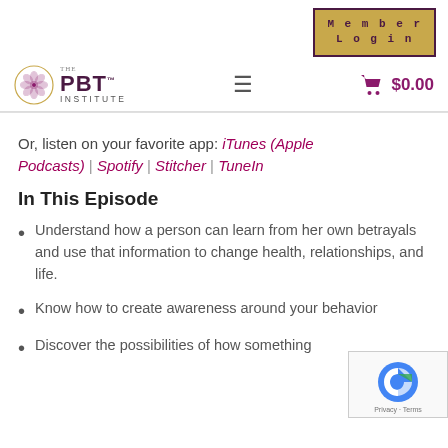Member Login
[Figure (logo): The PBT Institute logo with flower/snowflake circular emblem and text 'THE PBT INSTITUTE']
Or, listen on your favorite app: iTunes (Apple Podcasts) | Spotify | Stitcher | TuneIn
In This Episode
Understand how a person can learn from her own betrayals and use that information to change health, relationships, and life.
Know how to create awareness around your behavior
Discover the possibilities of how something